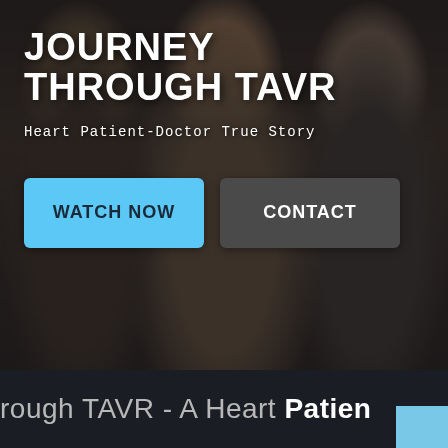[Figure (photo): Three men standing together in a dimly lit room, appearing to be a patient and two doctors. Dark background.]
JOURNEY THROUGH TAVR
Heart Patient-Doctor True Story
WATCH NOW
CONTACT
rough TAVR - A Heart Patien